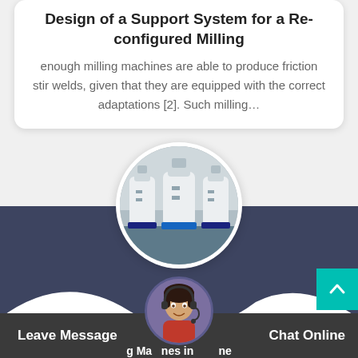Design of a Support System for a Re-configured Milling
enough milling machines are able to produce friction stir welds, given that they are equipped with the correct adaptations [2]. Such milling...
[Figure (photo): Circular cropped photograph of industrial milling machines (white/cream colored equipment on blue bases) arranged in a row, viewed from the front.]
[Figure (illustration): Dark blue-gray banner section with a white wave/swirl decorative shape at the bottom.]
[Figure (photo): Circular cropped photo of a woman wearing a headset, serving as a customer support avatar at the bottom center of the page.]
Leave Message
Chat Online
g Ma nes in ne Enthusiast